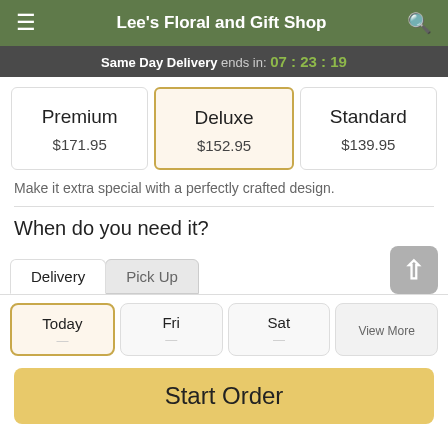Lee's Floral and Gift Shop
Same Day Delivery ends in: 07 : 23 : 19
| Premium | $171.95 |
| Deluxe | $152.95 |
| Standard | $139.95 |
Make it extra special with a perfectly crafted design.
When do you need it?
Delivery   Pick Up
Today   Fri   Sat   View More
Start Order